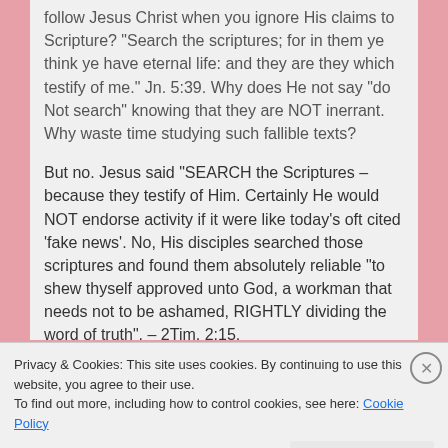follow Jesus Christ when you ignore His claims to Scripture? "Search the scriptures; for in them ye think ye have eternal life: and they are they which testify of me." Jn. 5:39. Why does He not say "do Not search" knowing that they are NOT inerrant. Why waste time studying such fallible texts?
But no. Jesus said "SEARCH the Scriptures – because they testify of Him. Certainly He would NOT endorse activity if it were like today's oft cited 'fake news'. No, His disciples searched those scriptures and found them absolutely reliable "to shew thyself approved unto God, a workman that needs not to be ashamed, RIGHTLY dividing the word of truth". – 2Tim. 2:15.
Privacy & Cookies: This site uses cookies. By continuing to use this website, you agree to their use.
To find out more, including how to control cookies, see here: Cookie Policy
Close and accept